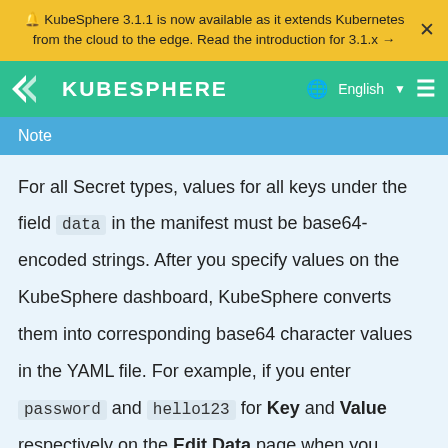🔔 KubeSphere 3.1.1 is now available as it extends Kubernetes from the cloud to the edge. Read the introduction for 3.1.x →
KUBESPHERE  English ≡
Note
For all Secret types, values for all keys under the field data in the manifest must be base64-encoded strings. After you specify values on the KubeSphere dashboard, KubeSphere converts them into corresponding base64 character values in the YAML file. For example, if you enter password and hello123 for Key and Value respectively on the Edit Data page when you